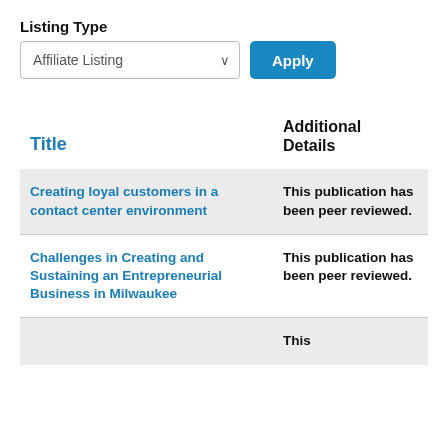Listing Type
Affiliate Listing [dropdown] Apply [button]
| Title | Additional Details |
| --- | --- |
| Creating loyal customers in a contact center environment | This publication has been peer reviewed. |
| Challenges in Creating and Sustaining an Entrepreneurial Business in Milwaukee | This publication has been peer reviewed. |
| [partially visible row] | This |